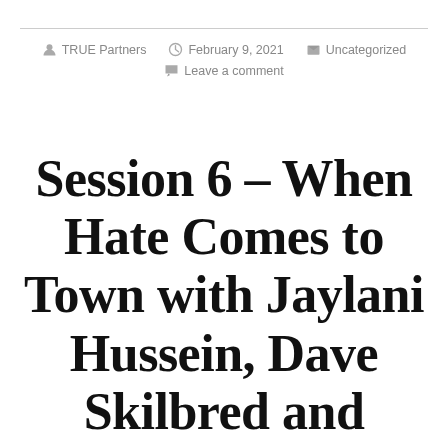TRUE Partners  February 9, 2021  Uncategorized  Leave a comment
Session 6 – When Hate Comes to Town with Jaylani Hussein, Dave Skilbred and Victoria Guillemard